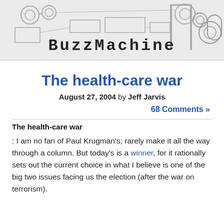[Figure (illustration): BuzzMachine blog header banner with industrial machinery engravings in the background and the text 'BuzzMachine' in bold monospace font]
The health-care war
August 27, 2004 by Jeff Jarvis
68 Comments »
The health-care war
: I am no fan of Paul Krugman's; rarely make it all the way through a column. But today's is a winner, for it rationally sets out the current choice in what I believe is one of the big two issues facing us the election (after the war on terrorism).